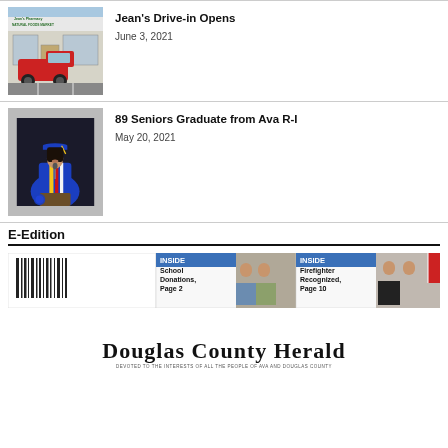[Figure (photo): Photo of a storefront with 'Jean's Pharmacy Natural Foods Market' sign and a red pickup truck parked outside]
Jean's Drive-in Opens
June 3, 2021
[Figure (photo): Photo of a young woman in blue graduation cap and gown speaking at a podium]
89 Seniors Graduate from Ava R-I
May 20, 2021
E-Edition
[Figure (screenshot): Preview of the Douglas County Herald newspaper front page, showing 'INSIDE: School Donations, Page 2' and 'INSIDE: Firefighter Recognized, Page 10' teasers with photos, and the newspaper masthead 'Douglas County Herald' with tagline 'DEVOTED TO THE INTERESTS OF ALL THE PEOPLE OF AVA AND DOUGLAS COUNTY']